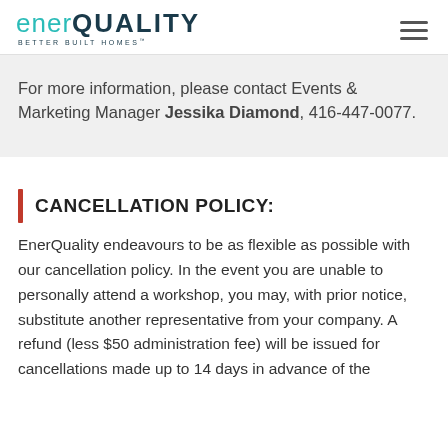enerQUALITY BETTER BUILT HOMES
For more information, please contact Events & Marketing Manager Jessika Diamond, 416-447-0077.
CANCELLATION POLICY:
EnerQuality endeavours to be as flexible as possible with our cancellation policy. In the event you are unable to personally attend a workshop, you may, with prior notice, substitute another representative from your company. A refund (less $50 administration fee) will be issued for cancellations made up to 14 days in advance of the